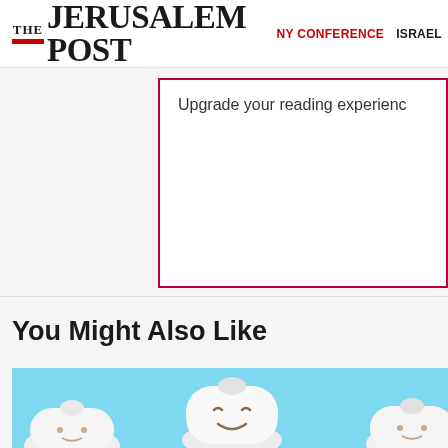THE JERUSALEM POST | NY CONFERENCE | ISRAEL
Upgrade your reading experience
You Might Also Like
[Figure (illustration): Cartoon illustration of smiling tooth characters on a light blue background]